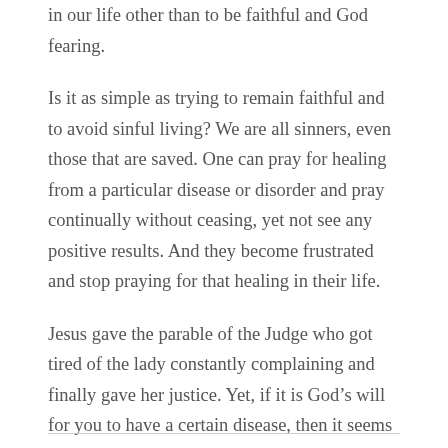in our life other than to be faithful and God fearing.
Is it as simple as trying to remain faithful and to avoid sinful living? We are all sinners, even those that are saved. One can pray for healing from a particular disease or disorder and pray continually without ceasing, yet not see any positive results. And they become frustrated and stop praying for that healing in their life.
Jesus gave the parable of the Judge who got tired of the lady constantly complaining and finally gave her justice. Yet, if it is God’s will for you to have a certain disease, then it seems that you complain all you want and your will so to say will not override God’s.
A very tough question to answer.